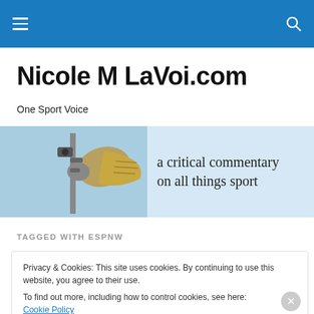Navigation bar with hamburger menu and search icon
Nicole M LaVoi.com
One Sport Voice
[Figure (illustration): Banner image showing a megaphone/loudspeaker on a pole against a light blue sky, with text 'a critical commentary on all things sport']
TAGGED WITH ESPNW
Privacy & Cookies: This site uses cookies. By continuing to use this website, you agree to their use.
To find out more, including how to control cookies, see here: Cookie Policy
Close and accept